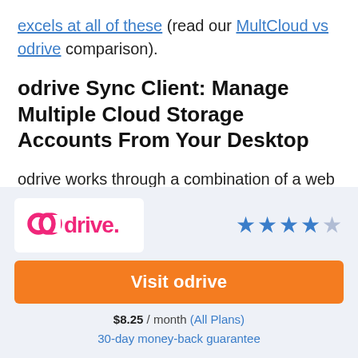excels at all of these (read our MultCloud vs odrive comparison).
odrive Sync Client: Manage Multiple Cloud Storage Accounts From Your Desktop
odrive works through a combination of a web user interface and a desktop sync client. You can easily download the sync client, and its
[Figure (logo): odrive logo with pink/magenta text and a looping 'o' letter on a white background card, with 4 out of 5 blue stars rating on the right]
Visit odrive
$8.25 / month (All Plans) 30-day money-back guarantee